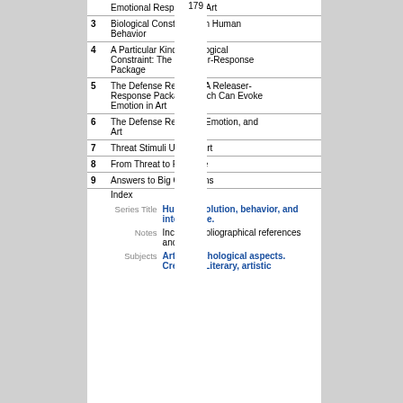| # | Title | Page |
| --- | --- | --- |
|  | Emotional Response to Art |  |
| 3 | Biological Constraints on Human Behavior | 29 |
| 4 | A Particular Kind of Biological Constraint: The Releaser-Response Package | 49 |
| 5 | The Defense Reaction: A Releaser-Response Package Which Can Evoke Emotion in Art | 71 |
| 6 | The Defense Reaction, Emotion, and Art | 99 |
| 7 | Threat Stimuli Used in Art | 109 |
| 8 | From Threat to Pleasure | 143 |
| 9 | Answers to Big Questions | 153 |
|  | Index | 179 |
Series Title: Human evolution, behavior, and intelligence.
Notes: Includes bibliographical references and index.
Subjects: Art -- Psychological aspects. Creation (Literary, artistic